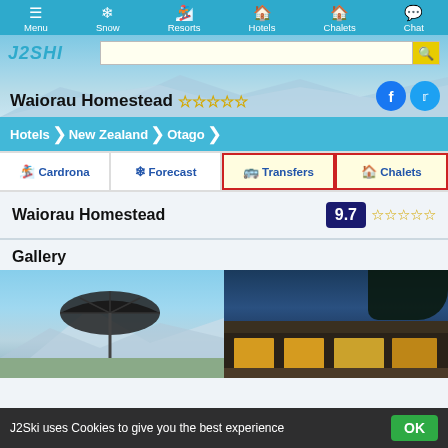Menu | Snow | Resorts | Hotels | Chalets | Chat
[Figure (screenshot): J2Ski website hero banner with mountain background, logo, search bar, and Waiorau Homestead title with gold stars and social media icons]
Hotels > New Zealand > Otago
Cardrona | Forecast | Transfers | Chalets
Waiorau Homestead   9.7 ☆☆☆☆☆
Gallery
[Figure (photo): Two gallery images: left shows outdoor umbrella with mountain backdrop, right shows building exterior at dusk with warm interior lighting]
J2Ski uses Cookies to give you the best experience